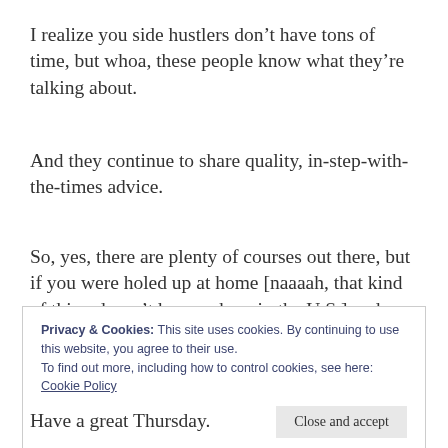I realize you side hustlers don’t have tons of time, but whoa, these people know what they’re talking about.
And they continue to share quality, in-step-with-the-times advice.
So, yes, there are plenty of courses out there, but if you were holed up at home [naaaah, that kind of thing doesn’t happen here in the U.S.] and
Privacy & Cookies: This site uses cookies. By continuing to use this website, you agree to their use.
To find out more, including how to control cookies, see here:
Cookie Policy
Close and accept
Have a great Thursday.